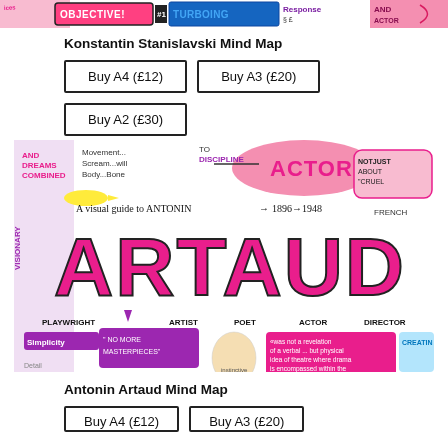[Figure (illustration): Top banner strip showing colorful mind map snippets with words like OBJECTIVE, THUNDERING, Response, and other theatrical terms in bright pink, blue, and purple hand-drawn lettering]
Konstantin Stanislavski Mind Map
Buy A4 (£12)
Buy A3 (£20)
Buy A2 (£30)
[Figure (illustration): A visual guide mind map for Antonin Artaud (1896-1948) featuring large red graffiti-style lettering spelling ARTAUD, surrounded by hand-drawn annotations describing him as playwright, poet, actor, director, artist, visionary, theorist. Text includes quotes about theatre and phrases like NO MORE MASTERPIECES, Movement Scream will Body Bone, DISCIPLINE, ACTOR, and was not a revelation of a verbal... but physical idea of theatre where drama is encompassed within the limits of everything that can happen on stage today.]
Antonin Artaud Mind Map
Buy A4 (£12)
Buy A3 (£20)